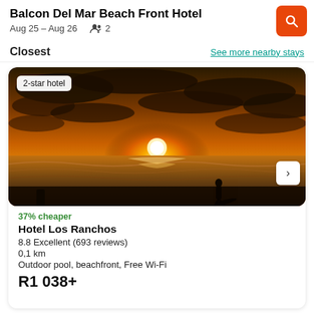Balcon Del Mar Beach Front Hotel
Aug 25 – Aug 26   👥 2
Closest
See more nearby stays
[Figure (photo): Sunset beach photo with silhouette of person on beach, waves, golden sky and clouds. Badge reads '2-star hotel'.]
37% cheaper
Hotel Los Ranchos
8.8 Excellent (693 reviews)
0,1 km
Outdoor pool, beachfront, Free Wi-Fi
R1 038+